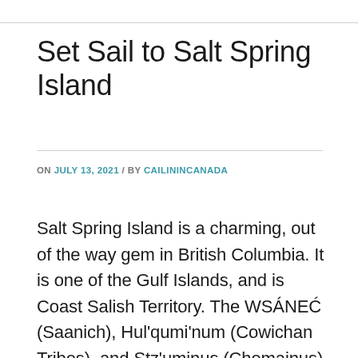Set Sail to Salt Spring Island
ON JULY 13, 2021 / BY CAILININCANADA
Salt Spring Island is a charming, out of the way gem in British Columbia. It is one of the Gulf Islands, and is Coast Salish Territory. The WSÁNEĆ (Saanich), Hul'qumi'num (Cowichan Tribes), and Stz'uminus (Chemainus) First Nations called Salt Spring Island home for centuries, and many still do